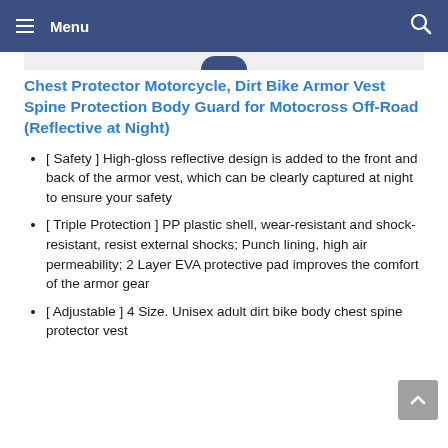Menu
Chest Protector Motorcycle, Dirt Bike Armor Vest Spine Protection Body Guard for Motocross Off-Road (Reflective at Night)
[ Safety ] High-gloss reflective design is added to the front and back of the armor vest, which can be clearly captured at night to ensure your safety
[ Triple Protection ] PP plastic shell, wear-resistant and shock-resistant, resist external shocks; Punch lining, high air permeability; 2 Layer EVA protective pad improves the comfort of the armor gear
[ Adjustable ] 4 Size. Unisex adult dirt bike body chest spine protector vest